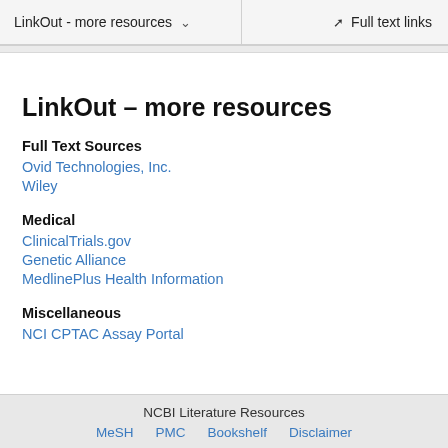LinkOut - more resources   Full text links
LinkOut – more resources
Full Text Sources
Ovid Technologies, Inc.
Wiley
Medical
ClinicalTrials.gov
Genetic Alliance
MedlinePlus Health Information
Miscellaneous
NCI CPTAC Assay Portal
NCBI Literature Resources  MeSH  PMC  Bookshelf  Disclaimer